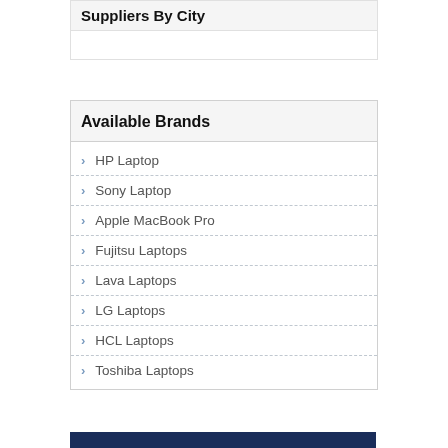Suppliers By City
Available Brands
HP Laptop
Sony Laptop
Apple MacBook Pro
Fujitsu Laptops
Lava Laptops
LG Laptops
HCL Laptops
Toshiba Laptops